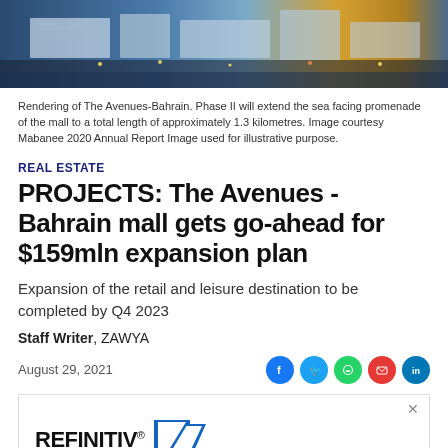[Figure (illustration): Aerial rendering of The Avenues-Bahrain mall complex, showing blue rooftops, waterfront promenade, and surrounding area at dusk/night]
Rendering of The Avenues-Bahrain. Phase II will extend the sea facing promenade of the mall to a total length of approximately 1.3 kilometres. Image courtesy Mabanee 2020 Annual Report Image used for illustrative purpose.
REAL ESTATE
PROJECTS: The Avenues - Bahrain mall gets go-ahead for $159mln expansion plan
Expansion of the retail and leisure destination to be completed by Q4 2023
Staff Writer, ZAWYA
August 29, 2021
[Figure (logo): REFINITIV logo with blue geometric arrow icon]